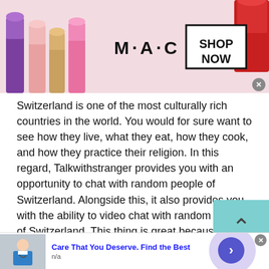[Figure (screenshot): MAC cosmetics advertisement banner showing lipsticks and 'SHOP NOW' box]
Switzerland is one of the most culturally rich countries in the world. You would for sure want to see how they live, what they eat, how they cook, and how they practice their religion. In this regard, Talkwithstranger provides you with an opportunity to chat with random people of Switzerland. Alongside this, it also provides you with the ability to video chat with random people of Switzerland. This thing is great because you can interact with totally random people.
[Figure (screenshot): Bottom advertisement: 'Care That You Deserve. Find the Best' with a doctor image and arrow button, n/a subtitle]